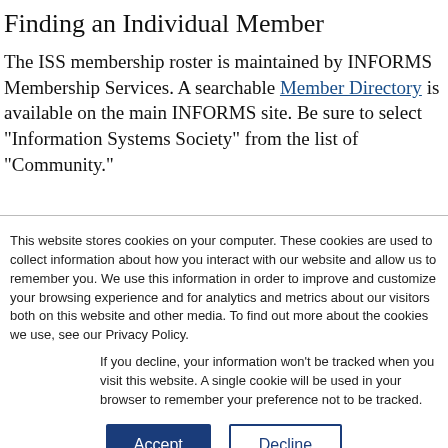Finding an Individual Member
The ISS membership roster is maintained by INFORMS Membership Services. A searchable Member Directory is available on the main INFORMS site. Be sure to select "Information Systems Society" from the list of "Community."
This website stores cookies on your computer. These cookies are used to collect information about how you interact with our website and allow us to remember you. We use this information in order to improve and customize your browsing experience and for analytics and metrics about our visitors both on this website and other media. To find out more about the cookies we use, see our Privacy Policy.
If you decline, your information won't be tracked when you visit this website. A single cookie will be used in your browser to remember your preference not to be tracked.